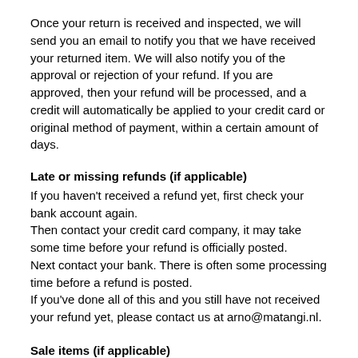Once your return is received and inspected, we will send you an email to notify you that we have received your returned item. We will also notify you of the approval or rejection of your refund. If you are approved, then your refund will be processed, and a credit will automatically be applied to your credit card or original method of payment, within a certain amount of days.
Late or missing refunds (if applicable)
If you haven't received a refund yet, first check your bank account again.
Then contact your credit card company, it may take some time before your refund is officially posted.
Next contact your bank. There is often some processing time before a refund is posted.
If you've done all of this and you still have not received your refund yet, please contact us at arno@matangi.nl.
Sale items (if applicable)
Only regular priced items may be refunded, unfortunately sale items cannot be refunded.